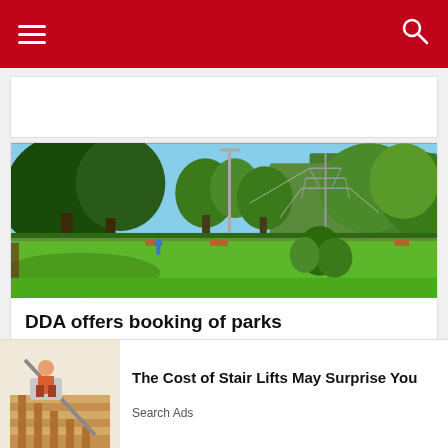Navigation bar with hamburger menu and search icon
[Figure (photo): Partial white card at top, truncated from previous scroll position]
[Figure (photo): Outdoor park scene with lush green lawn, large trees, benches, tall electricity transmission tower in background, blue sky. Park appears to be a DDA (Delhi Development Authority) park in India.]
DDA offers booking of parks
SPONSORED CONTENT
[Figure (photo): Advertisement image showing an elderly person on a stair lift in a home staircase setting]
The Cost of Stair Lifts May Surprise You
Search Ads